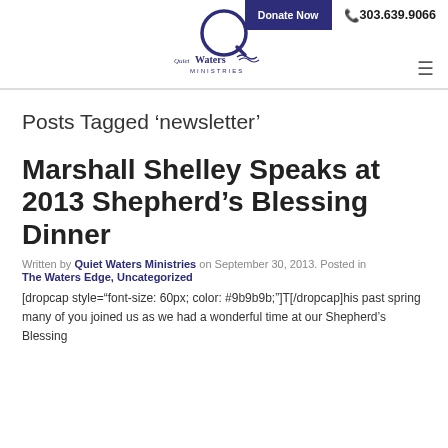Donate Now   303.639.9066   Quiet Waters Ministries logo
Posts Tagged ‘newsletter’
Marshall Shelley Speaks at 2013 Shepherd’s Blessing Dinner
Written by Quiet Waters Ministries on September 30, 2013. Posted in The Waters Edge, Uncategorized
[dropcap style="font-size: 60px; color: #9b9b9b;"]T[/dropcap]his past spring many of you joined us as we had a wonderful time at our Shepherd’s Blessing